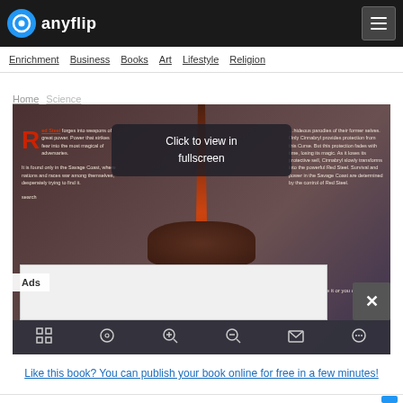anyflip
Enrichment  Business  Books  Art  Lifestyle  Religion
Home  Science
[Figure (screenshot): Screenshot of an AnyFlip digital book viewer showing a fantasy book page about Red Steel. A darkly-lit book spread with red decorative sword imagery in the center, text on left and right sides. An overlay reads 'Click to view in fullscreen'. An Ads banner and close button are visible at the bottom of the viewer. Toolbar icons at the very bottom.]
Like this book? You can publish your book online for free in a few minutes!